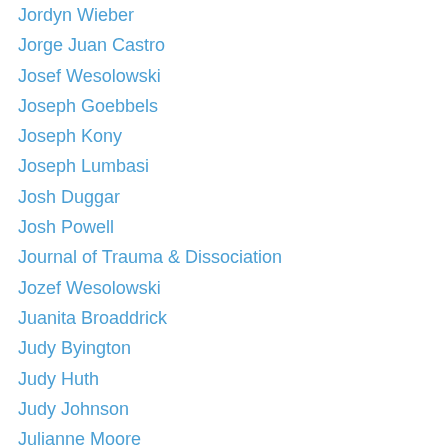Jordyn Wieber
Jorge Juan Castro
Josef Wesolowski
Joseph Goebbels
Joseph Kony
Joseph Lumbasi
Josh Duggar
Josh Powell
Journal of Trauma & Dissociation
Jozef Wesolowski
Juanita Broaddrick
Judy Byington
Judy Huth
Judy Johnson
Julianne Moore
Julie Swetnick
Junk Science
just following orders
Justice Clarence Thomas
Justice Department